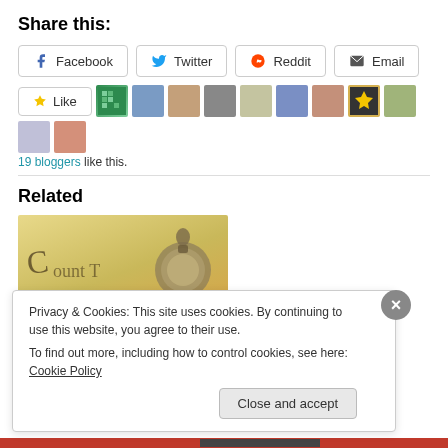Share this:
Facebook  Twitter  Reddit  Email
[Figure (other): Like button and row of 11 blogger avatar thumbnails]
19 bloggers like this.
Related
[Figure (photo): Partial image of a pocket watch with a figure on top, on a yellow/gold background with cursive text]
Privacy & Cookies: This site uses cookies. By continuing to use this website, you agree to their use.
To find out more, including how to control cookies, see here: Cookie Policy
Close and accept